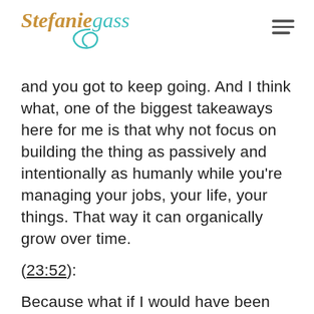Stefanie Gass
and you got to keep going. And I think what, one of the biggest takeaways here for me is that why not focus on building the thing as passively and intentionally as humanly while you're managing your jobs, your life, your things. That way it can organically grow over time.
(23:52):
Because what if I would have been spending the last eight and a half years podcasting sharing my heart once a week,